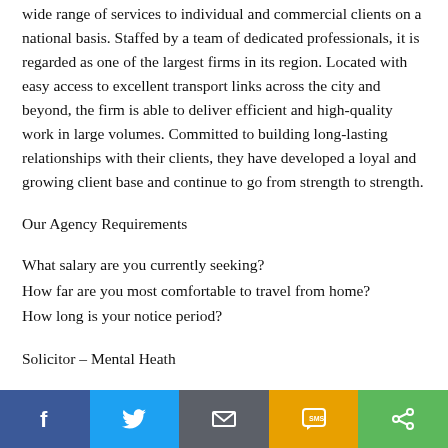wide range of services to individual and commercial clients on a national basis. Staffed by a team of dedicated professionals, it is regarded as one of the largest firms in its region. Located with easy access to excellent transport links across the city and beyond, the firm is able to deliver efficient and high-quality work in large volumes. Committed to building long-lasting relationships with their clients, they have developed a loyal and growing client base and continue to go from strength to strength.
Our Agency Requirements
What salary are you currently seeking?
How far are you most comfortable to travel from home?
How long is your notice period?
Solicitor – Mental Heath
For further details of this Mental health solicitor role please contact Mia on (phone number removed) quoting reference